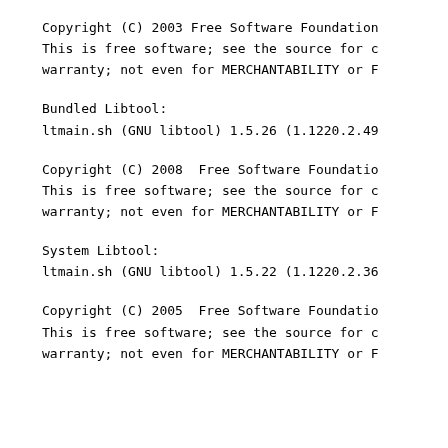Copyright (C) 2003 Free Software Foundation
This is free software; see the source for c
warranty; not even for MERCHANTABILITY or F
Bundled Libtool:
ltmain.sh (GNU libtool) 1.5.26 (1.1220.2.49
Copyright (C) 2008  Free Software Foundatio
This is free software; see the source for c
warranty; not even for MERCHANTABILITY or F
System Libtool:
ltmain.sh (GNU libtool) 1.5.22 (1.1220.2.36
Copyright (C) 2005  Free Software Foundatio
This is free software; see the source for c
warranty; not even for MERCHANTABILITY or F